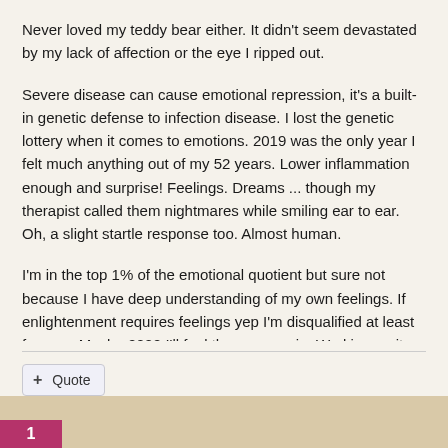Never loved my teddy bear either. It didn't seem devastated by my lack of affection or the eye I ripped out.
Severe disease can cause emotional repression, it's a built-in genetic defense to infection disease. I lost the genetic lottery when it comes to emotions. 2019 was the only year I felt much anything out of my 52 years. Lower inflammation enough and surprise! Feelings. Dreams ... though my therapist called them nightmares while smiling ear to ear. Oh, a slight startle response too. Almost human.
I'm in the top 1% of the emotional quotient but sure not because I have deep understanding of my own feelings. If enlightenment requires feelings yep I'm disqualified at least for now. Maybe 2022 I'll feel the rage again. Working on it. 🙂👍
+ Quote